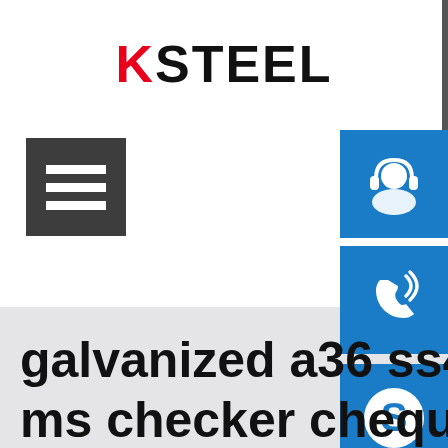KSTEEL
[Figure (other): Hamburger menu icon — three horizontal white lines on dark gray background]
[Figure (other): Customer support icon on blue background — person with headset]
[Figure (other): Phone/contact icon on blue background — phone handset with signal waves]
[Figure (other): Skype icon on blue background — letter S]
galvanized a36 ss400 carbo ms checker chequered mil steel plate Bending
You are here: Home / Oil Storage tank
[Figure (other): Scroll-to-top circular arrow button]